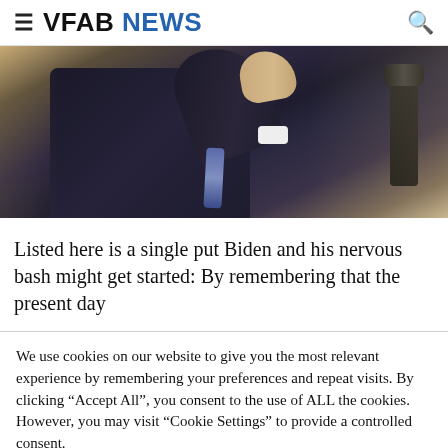≡ VFAB NEWS 🔍
[Figure (photo): A person in a dark suit gesturing with their hand raised, standing at a podium with a microphone. The background shows ornate interior columns with warm golden tones.]
Listed here is a single put Biden and his nervous bash might get started: By remembering that the present day
We use cookies on our website to give you the most relevant experience by remembering your preferences and repeat visits. By clicking "Accept All", you consent to the use of ALL the cookies. However, you may visit "Cookie Settings" to provide a controlled consent.
Cookie Settings | Accept All